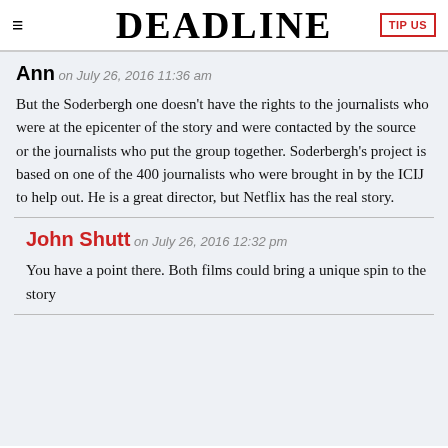DEADLINE
Ann on July 26, 2016 11:36 am
But the Soderbergh one doesn't have the rights to the journalists who were at the epicenter of the story and were contacted by the source or the journalists who put the group together. Soderbergh's project is based on one of the 400 journalists who were brought in by the ICIJ to help out. He is a great director, but Netflix has the real story.
John Shutt on July 26, 2016 12:32 pm
You have a point there. Both films could bring a unique spin to the story